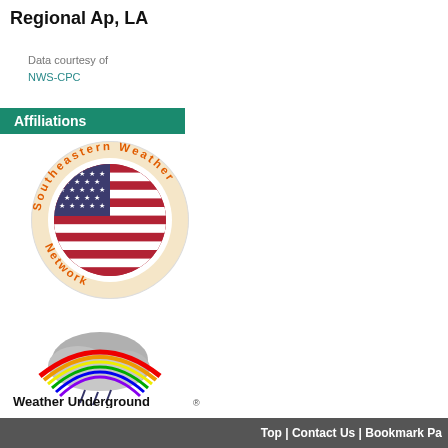Regional Ap, LA
Data courtesy of
NWS-CPC
Affiliations
[Figure (logo): Southeastern Weather Network logo — circular badge with US flag in center, orange text around border]
[Figure (logo): Weather Underground logo — cloud with rainbow and rain, text 'Weather Underground']
[Figure (logo): APRSWXNET Citizen Weather Observer Program logo — blue circle with triangular symbol]
[Figure (logo): Quality Checked badge — checkmark in circle with text 'Quality Checked']
Top | Contact Us | Bookmark Pa